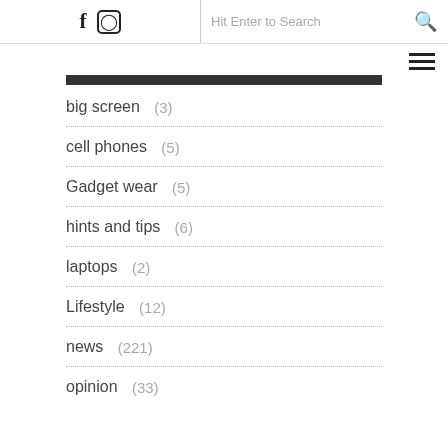Facebook Instagram | Hit Enter to Search
big screen (3)
cell phones (5)
Gadget wear (5)
hints and tips (6)
laptops (2)
Lifestyle (12)
news (221)
opinion (33)